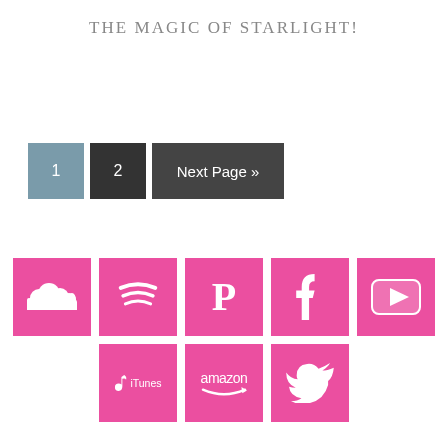THE MAGIC OF STARLIGHT!
[Figure (infographic): Pagination buttons: 1 (active, steel blue), 2 (dark gray), Next Page » (dark gray)]
[Figure (infographic): Row of 8 social media icons on pink/magenta background: SoundCloud, Spotify, Pandora (P), Facebook, YouTube (top row), iTunes, Amazon, Twitter (bottom row)]